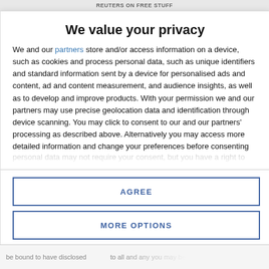REUTERS ON FREE STUFF
We value your privacy
We and our partners store and/or access information on a device, such as cookies and process personal data, such as unique identifiers and standard information sent by a device for personalised ads and content, ad and content measurement, and audience insights, as well as to develop and improve products. With your permission we and our partners may use precise geolocation data and identification through device scanning. You may click to consent to our and our partners' processing as described above. Alternatively you may access more detailed information and change your preferences before consenting or to refuse consenting. Please note that some processing of your personal data may not require your consent, but you have a right to
AGREE
MORE OPTIONS
be bound to have disclosed ... to all and any you may be